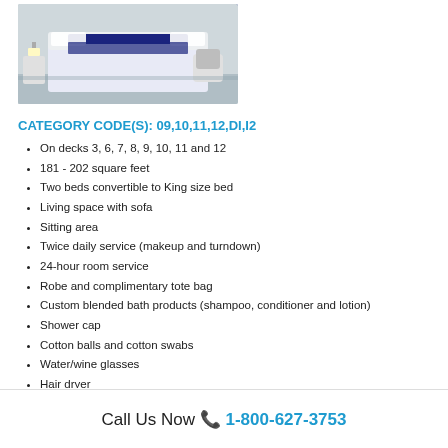[Figure (photo): Interior of a cruise ship cabin showing a bed with dark blue and white bedding, white chair, and cabin furnishings]
CATEGORY CODE(S): 09,10,11,12,DI,I2
On decks 3, 6, 7, 8, 9, 10, 11 and 12
181 - 202 square feet
Two beds convertible to King size bed
Living space with sofa
Sitting area
Twice daily service (makeup and turndown)
24-hour room service
Robe and complimentary tote bag
Custom blended bath products (shampoo, conditioner and lotion)
Shower cap
Cotton balls and cotton swabs
Water/wine glasses
Hair dryer
Call Us Now 📞 1-800-627-3753